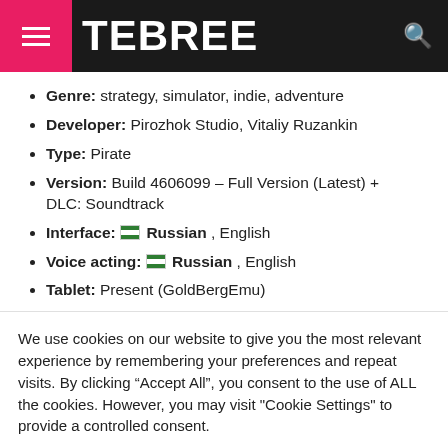TEBREE
Genre: strategy, simulator, indie, adventure
Developer: Pirozhok Studio, Vitaliy Ruzankin
Type: Pirate
Version: Build 4606099 – Full Version (Latest) + DLC: Soundtrack
Interface: [flag] Russian , English
Voice acting: [flag] Russian , English
Tablet: Present (GoldBergEmu)
We use cookies on our website to give you the most relevant experience by remembering your preferences and repeat visits. By clicking "Accept All", you consent to the use of ALL the cookies. However, you may visit "Cookie Settings" to provide a controlled consent.